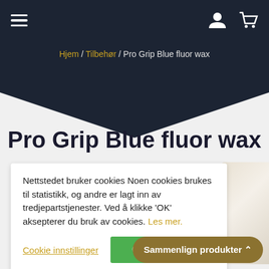≡  [user icon] [cart icon]
Hjem / Tilbehør / Pro Grip Blue fluor wax
Pro Grip Blue fluor wax
Nettstedet bruker cookies Noen cookies brukes til statistikk, og andre er lagt inn av tredjepartstjenester. Ved å klikke 'OK' aksepterer du bruk av cookies. Les mer.
Cookie innstillinger   OK
kr 79
Sammenlign produkter